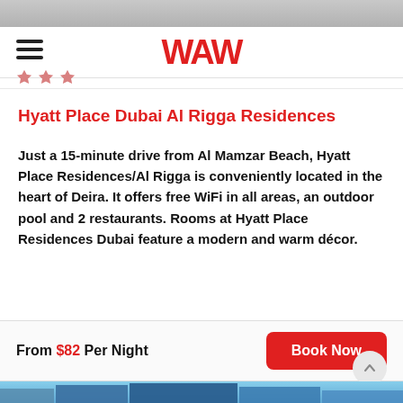WAW
Hyatt Place Dubai Al Rigga Residences
Just a 15-minute drive from Al Mamzar Beach, Hyatt Place Residences/Al Rigga is conveniently located in the heart of Deira. It offers free WiFi in all areas, an outdoor pool and 2 restaurants. Rooms at Hyatt Place Residences Dubai feature a modern and warm décor.
From $82 Per Night
[Figure (photo): Exterior photo of Hyatt Place Dubai Al Rigga Residences building with blue glass facade]